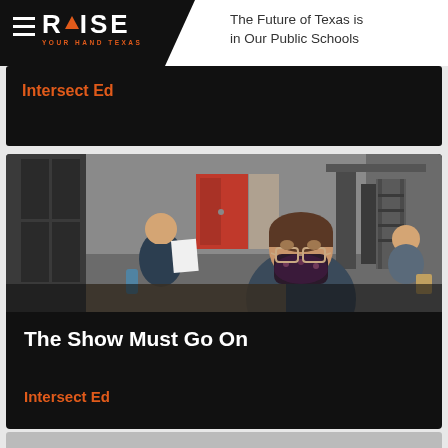RAISE YOUR HAND TEXAS — The Future of Texas is in Our Public Schools
Intersect Ed
[Figure (photo): Students sitting in a classroom or auditorium, wearing masks, with one student in the foreground wearing a dark floral mask and glasses, holding papers. The background shows a rehearsal or classroom setting with lockers, a red door, and staging equipment.]
The Show Must Go On
Intersect Ed